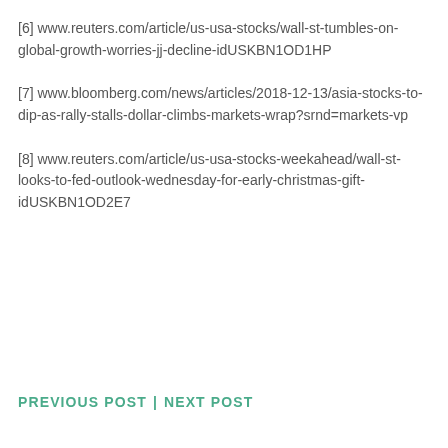[6] www.reuters.com/article/us-usa-stocks/wall-st-tumbles-on-global-growth-worries-jj-decline-idUSKBN1OD1HP
[7] www.bloomberg.com/news/articles/2018-12-13/asia-stocks-to-dip-as-rally-stalls-dollar-climbs-markets-wrap?srnd=markets-vp
[8] www.reuters.com/article/us-usa-stocks-weekahead/wall-st-looks-to-fed-outlook-wednesday-for-early-christmas-gift-idUSKBN1OD2E7
PREVIOUS POST | NEXT POST